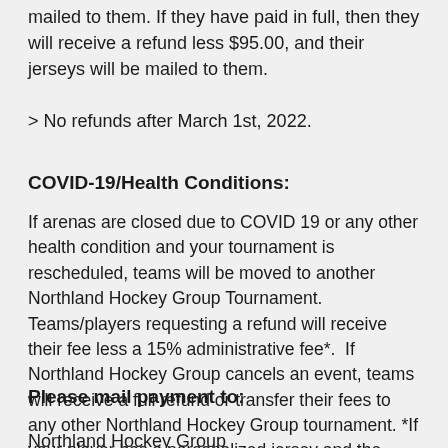mailed to them. If they have paid in full, then they will receive a refund less $95.00, and their jerseys will be mailed to them.
> No refunds after March 1st, 2022.
COVID-19/Health Conditions:
If arenas are closed due to COVID 19 or any other health condition and your tournament is rescheduled, teams will be moved to another Northland Hockey Group Tournament. Teams/players requesting a refund will receive their fee less a 15% administrative fee*.  If Northland Hockey Group cancels an event, teams will receive a full refund or transfer their fees to any other Northland Hockey Group tournament. *If your player has a personalized jersey and the season is canceled, we will mail you the jersey and retain your player deposit.
Please mail payment to:
Northland Hockey Group